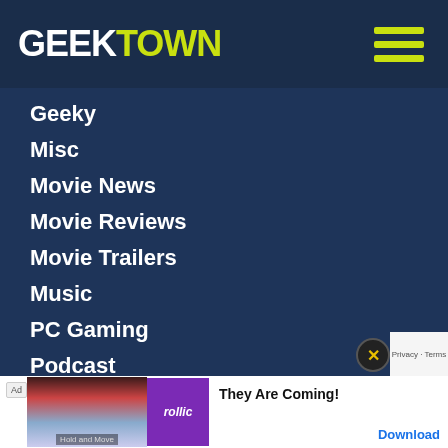GEEKTOWN
Geeky
Misc
Movie News
Movie Reviews
Movie Trailers
Music
PC Gaming
Podcast
Superheroes
TV News
TV Trailers
UK Air Dates
US Air Dates
ARCHIVES
Select
[Figure (screenshot): Advertisement banner showing 'rollic' brand with 'They Are Coming!' tagline and Download button]